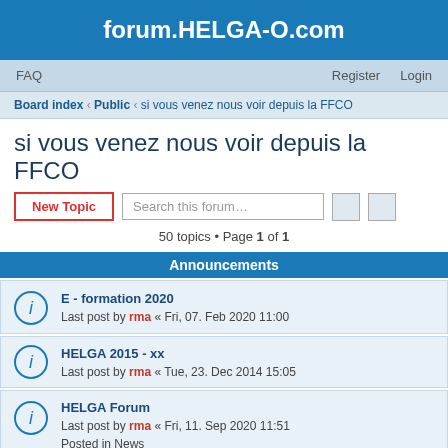forum.HELGA-O.com
FAQ   Register   Login
Board index · Public · si vous venez nous voir depuis la FFCO
si vous venez nous voir depuis la FFCO
New Topic   Search this forum…
50 topics • Page 1 of 1
Announcements
E - formation 2020
Last post by rma « Fri, 07. Feb 2020 11:00
HELGA 2015 - xx
Last post by rma « Tue, 23. Dec 2014 15:05
HELGA Forum
Last post by rma « Fri, 11. Sep 2020 11:51
Posted in News
Replies: 60
Topics
FFCO - Assemblée générale du 28/03/2022
Last post by rma « Fri, 17. Jun 2022 19:36